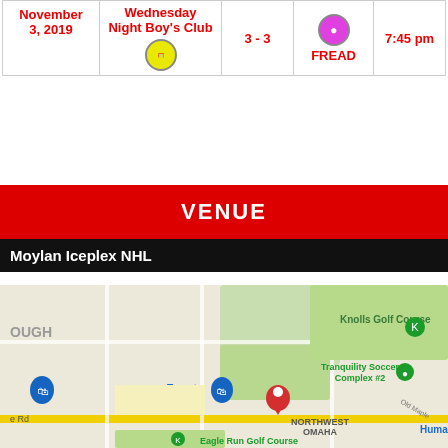| Date | League | Score | Team | Time |
| --- | --- | --- | --- | --- |
| November 3, 2019 | Wednesday Night Boy's Club | 3 - 3 | FREAD | 7:45 pm |
VENUE
Moylan Iceplex NHL
[Figure (map): Google Maps view of Moylan Iceplex NHL near Northwest Omaha, showing Knolls Golf Course, Tranquility Soccer Complex #2, Target, and Eagle Run Golf Course. A red location pin marks the venue.]